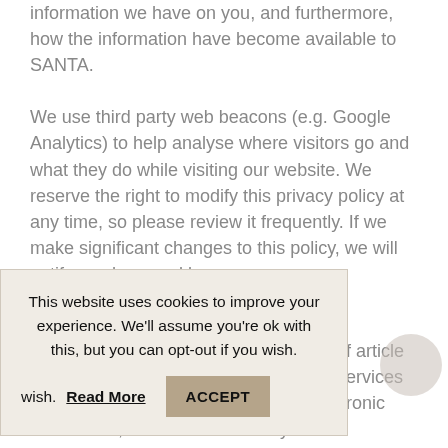information we have on you, and furthermore, how the information have become available to SANTA.
We use third party web beacons (e.g. Google Analytics) to help analyse where visitors go and what they do while visiting our website. We reserve the right to modify this privacy policy at any time, so please review it frequently. If we make significant changes to this policy, we will notify you here and by a
This website uses cookies to improve your experience. We'll assume you're ok with this, but you can opt-out if you wish. Read More ACCEPT
f article ervices ronic
Commerce, the Holder informs you that